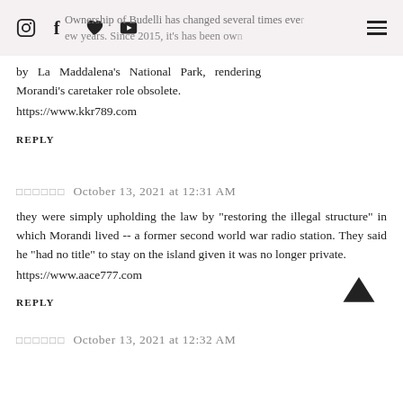Ownership of Budelli has changed several times over the last few years. Since 2015, it's has been owned by La Maddalena's National Park, rendering Morandi's caretaker role obsolete.
by La Maddalena's National Park, rendering Morandi's caretaker role obsolete. https://www.kkr789.com
REPLY
□□□□□□ October 13, 2021 at 12:31 AM
they were simply upholding the law by "restoring the illegal structure" in which Morandi lived -- a former second world war radio station. They said he "had no title" to stay on the island given it was no longer private. https://www.aace777.com
REPLY
□□□□□□ October 13, 2021 at 12:32 AM